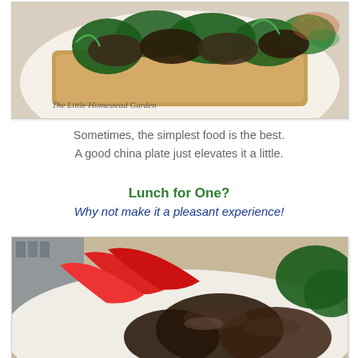[Figure (photo): Close-up photo of open-face toast topped with sautéed spinach and mushrooms on a decorative china plate. Watermark reads 'The Little Homestead Garden'.]
Sometimes, the simplest food is the best.
A good china plate just elevates it a little.
Lunch for One?
Why not make it a pleasant experience!
[Figure (photo): Close-up photo of a plate with red pepper slices, sautéed mushrooms, and green leafy vegetables on a decorative china plate.]